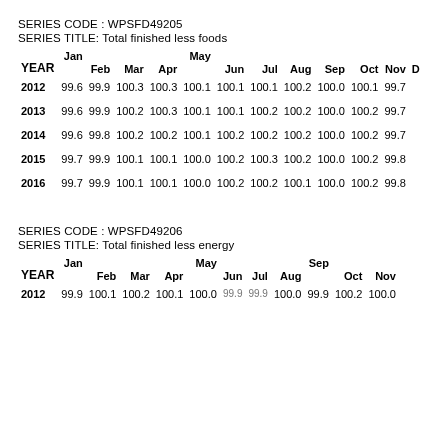SERIES CODE : WPSFD49205
SERIES TITLE: Total finished less foods
| YEAR | Jan | Feb | Mar | Apr | May | Jun | Jul | Aug | Sep | Oct | Nov | D |
| --- | --- | --- | --- | --- | --- | --- | --- | --- | --- | --- | --- | --- |
| 2012 | 99.6 | 99.9 | 100.3 | 100.3 | 100.1 | 100.1 | 100.1 | 100.2 | 100.0 | 100.1 | 99.7 |  |
| 2013 | 99.6 | 99.9 | 100.2 | 100.3 | 100.1 | 100.1 | 100.2 | 100.2 | 100.0 | 100.2 | 99.7 |  |
| 2014 | 99.6 | 99.8 | 100.2 | 100.2 | 100.1 | 100.2 | 100.2 | 100.2 | 100.0 | 100.2 | 99.7 |  |
| 2015 | 99.7 | 99.9 | 100.1 | 100.1 | 100.0 | 100.2 | 100.3 | 100.2 | 100.0 | 100.2 | 99.8 |  |
| 2016 | 99.7 | 99.9 | 100.1 | 100.1 | 100.0 | 100.2 | 100.2 | 100.1 | 100.0 | 100.2 | 99.8 |  |
SERIES CODE : WPSFD49206
SERIES TITLE: Total finished less energy
| YEAR | Jan | Feb | Mar | Apr | May | Jun | Jul | Aug | Sep | Oct | Nov |
| --- | --- | --- | --- | --- | --- | --- | --- | --- | --- | --- | --- |
| 2012 | 99.9 | 100.1 | 100.2 | 100.1 | 100.0 | 99.9 | 99.9 | 100.0 | 99.9 | 100.2 | 100.0 |